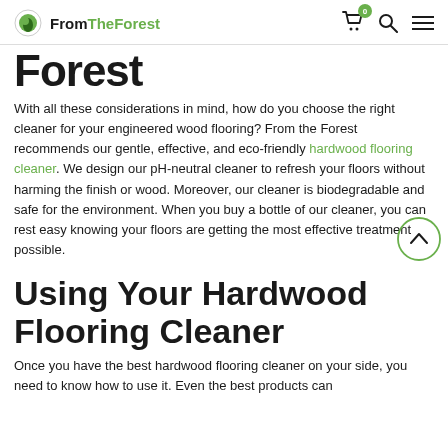FromTheForest — navigation with cart (0), search, and menu icons
Forest
With all these considerations in mind, how do you choose the right cleaner for your engineered wood flooring? From the Forest recommends our gentle, effective, and eco-friendly hardwood flooring cleaner. We design our pH-neutral cleaner to refresh your floors without harming the finish or wood. Moreover, our cleaner is biodegradable and safe for the environment. When you buy a bottle of our cleaner, you can rest easy knowing your floors are getting the most effective treatment possible.
Using Your Hardwood Flooring Cleaner
Once you have the best hardwood flooring cleaner on your side, you need to know how to use it. Even the best products can